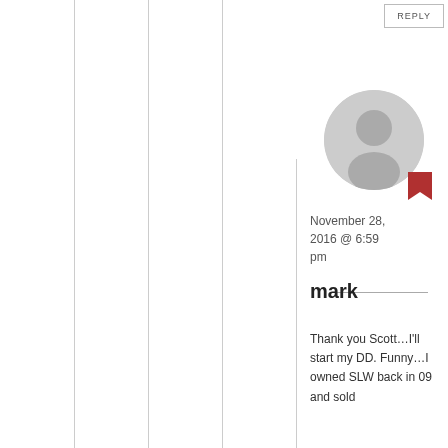REPLY
[Figure (illustration): Default grey avatar/profile picture placeholder with a person silhouette icon]
November 28, 2016 @ 6:59 pm
mark
Thank you Scott…I'll start my DD. Funny…I owned SLW back in 09 and sold